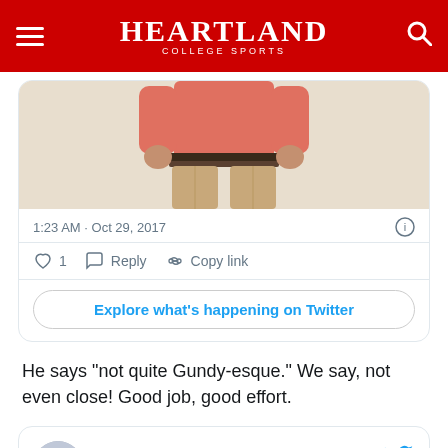Heartland College Sports
[Figure (screenshot): Partial screenshot of a tweet showing a person wearing a pink/salmon shirt and khaki pants, with timestamp 1:23 AM · Oct 29, 2017, like/reply/copy link actions, and an Explore what's happening on Twitter button]
He says “not quite Gundy-esque.” We say, not even close! Good job, good effort.
[Figure (screenshot): Tweet card from Victor Romero (@victorromero55) with a Follow button and Twitter bird icon, beginning with text 'Not quite Gundy-esque, but I made a']